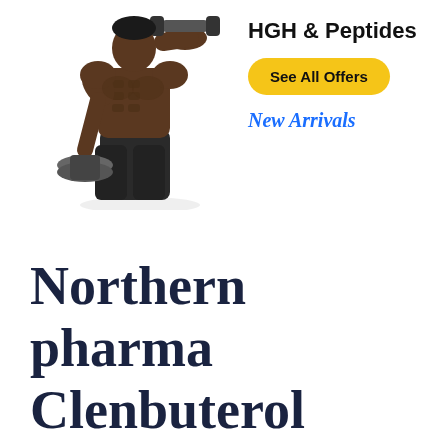[Figure (photo): Muscular male bodybuilder lifting a dumbbell overhead, shirtless with dark shorts, on a white background]
HGH & Peptides
See All Offers
New Arrivals
Northern pharma Clenbuterol